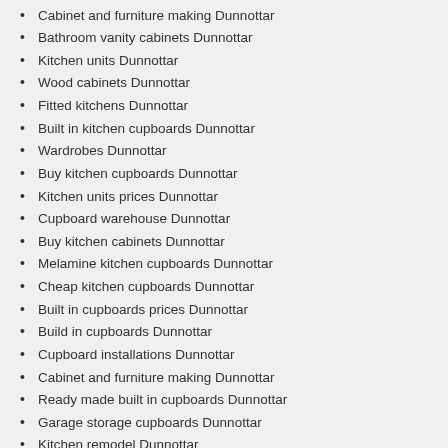Cabinet and furniture making Dunnottar
Bathroom vanity cabinets Dunnottar
Kitchen units Dunnottar
Wood cabinets Dunnottar
Fitted kitchens Dunnottar
Built in kitchen cupboards Dunnottar
Wardrobes Dunnottar
Buy kitchen cupboards Dunnottar
Kitchen units prices Dunnottar
Cupboard warehouse Dunnottar
Buy kitchen cabinets Dunnottar
Melamine kitchen cupboards Dunnottar
Cheap kitchen cupboards Dunnottar
Built in cupboards prices Dunnottar
Build in cupboards Dunnottar
Cupboard installations Dunnottar
Cabinet and furniture making Dunnottar
Ready made built in cupboards Dunnottar
Garage storage cupboards Dunnottar
Kitchen remodel Dunnottar
Contemporary kitchen cabinets repairs installer Dunnottar
Kitchen cupboards designs Dunnottar
Custom cabinet makers Dunnottar
Diy cupboards Dunnottar
Custom cabinets Dunnottar
Laundry room cabinets Dunnottar
Cupboard specialists manufactureres Dunnottar